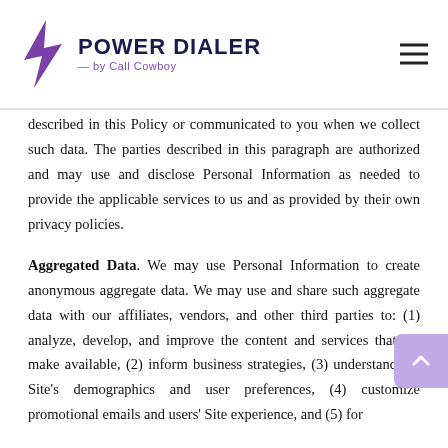POWER DIALER — by Call Cowboy
described in this Policy or communicated to you when we collect such data. The parties described in this paragraph are authorized and may use and disclose Personal Information as needed to provide the applicable services to us and as provided by their own privacy policies.
Aggregated Data. We may use Personal Information to create anonymous aggregate data. We may use and share such aggregate data with our affiliates, vendors, and other third parties to: (1) analyze, develop, and improve the content and services that we make available, (2) inform business strategies, (3) understand the Site's demographics and user preferences, (4) customize promotional emails and users' Site experience, and (5) for